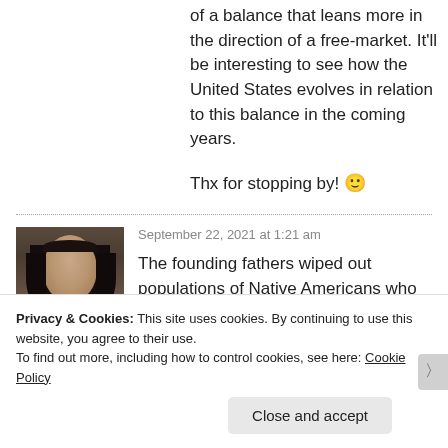of a balance that leans more in the direction of a free-market. It'll be interesting to see how the United States evolves in relation to this balance in the coming years.
Thx for stopping by! 🙂
September 22, 2021 at 1:21 am
The founding fathers wiped out populations of Native Americans who
Privacy & Cookies: This site uses cookies. By continuing to use this website, you agree to their use. To find out more, including how to control cookies, see here: Cookie Policy
Close and accept